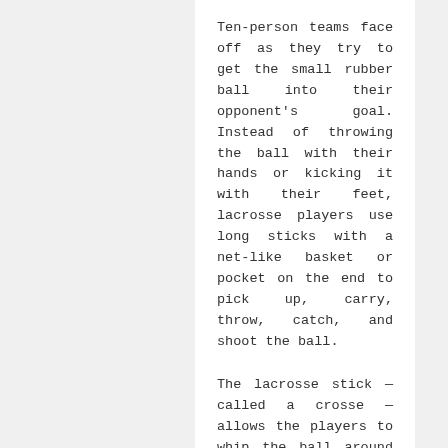Ten-person teams face off as they try to get the small rubber ball into their opponent's goal. Instead of throwing the ball with their hands or kicking it with their feet, lacrosse players use long sticks with a net-like basket or pocket on the end to pick up, carry, throw, catch, and shoot the ball.
The lacrosse stick — called a crosse — allows the players to whip the ball around the field with incredible speed. Players must cover a lot of ground and game play can